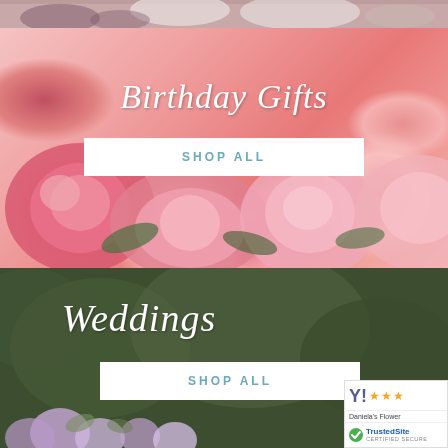[Figure (photo): Top strip showing partial floral image with flowers including purple and white blooms]
[Figure (photo): Banner image of pink roses bouquet with text overlay 'Birthday Gifts' and a 'SHOP ALL' button]
[Figure (photo): Banner image for Weddings category with dark green bokeh background, white/lavender flowers at bottom, 'Weddings' text overlay and 'SHOP ALL' button, with trust badges overlaid at right]
[Figure (logo): Yahoo Shopping stars rating badge showing 3 stars and 'Daniela's Flower' text, plus TrustedSite certified secure badge]